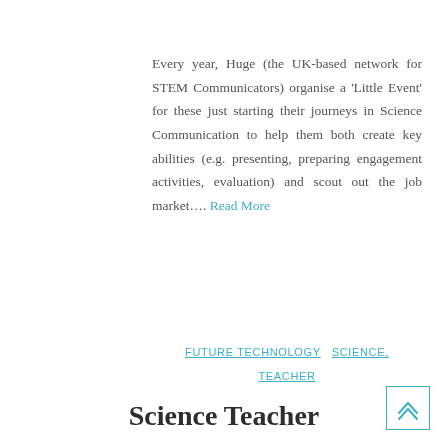Every year, Huge (the UK-based network for STEM Communicators) organise a 'Little Event' for these just starting their journeys in Science Communication to help them both create key abilities (e.g. presenting, preparing engagement activities, evaluation) and scout out the job market.... Read More
Author
FUTURE TECHNOLOGY   SCIENCE,   TEACHER
Science Teacher